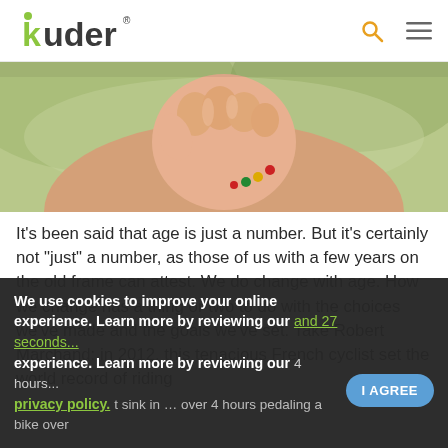kuder
[Figure (photo): Close-up photo of an elderly person's fist/hand raised, with blurred green background, wearing a colorful necklace]
It's been said that age is just a number. But it's certainly not "just" a number, as those of us with a few years on the old frame can attest. We do change with age. How we change has a thing or two to do with the choices we've made and the goals we've set. Take Robert Marchand: in 2012, this tenacious French cyclist set the world record of riding and 27 seconds... 4 hours...
We use cookies to improve your online experience. Learn more by reviewing our privacy policy.